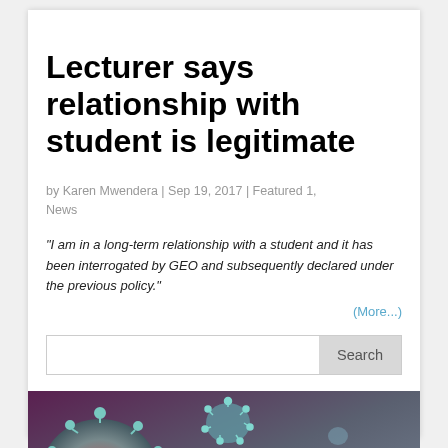Lecturer says relationship with student is legitimate
by Karen Mwendera | Sep 19, 2017 | Featured 1, News
“I am in a long-term relationship with a student and it has been interrogated by GEO and subsequently declared under the previous policy.”
(More...)
[Figure (other): COVID-19 information & resources banner image showing coronavirus particles with bold text reading COVID-19 and smaller text information & resources below.]